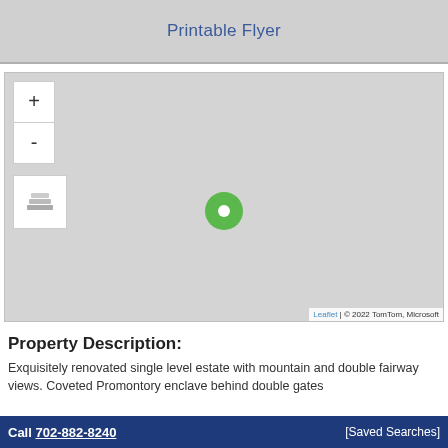Printable Flyer
[Figure (map): Interactive map showing property location with a green location pin in the center. Map controls include zoom in (+), zoom out (-), and layer toggle buttons on the left. Attribution reads 'Leaflet | © 2022 TomTom, Microsoft' in the bottom right corner.]
Property Description:
Exquisitely renovated single level estate with mountain and double fairway views. Coveted Promontory enclave behind double gates
Call 702-882-8240   [Saved Searches]